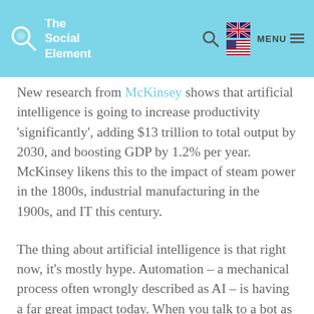The Social Element [logo] [UK flag] [US flag] MENU
New research from McKinsey shows that artificial intelligence is going to increase productivity 'significantly', adding $13 trillion to total output by 2030, and boosting GDP by 1.2% per year. McKinsey likens this to the impact of steam power in the 1800s, industrial manufacturing in the 1900s, and IT this century.
The thing about artificial intelligence is that right now, it's mostly hype. Automation – a mechanical process often wrongly described as AI – is having a far great impact today. When you talk to a bot as part of a